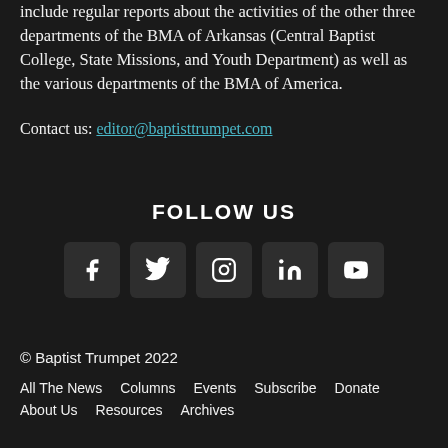include regular reports about the activities of the other three departments of the BMA of Arkansas (Central Baptist College, State Missions, and Youth Department) as well as the various departments of the BMA of America.
Contact us: editor@baptisttrumpet.com
FOLLOW US
[Figure (other): Row of five social media icon buttons: Facebook, Twitter, Instagram, LinkedIn, YouTube]
© Baptist Trumpet 2022
All The News   Columns   Events   Subscribe   Donate
About Us   Resources   Archives